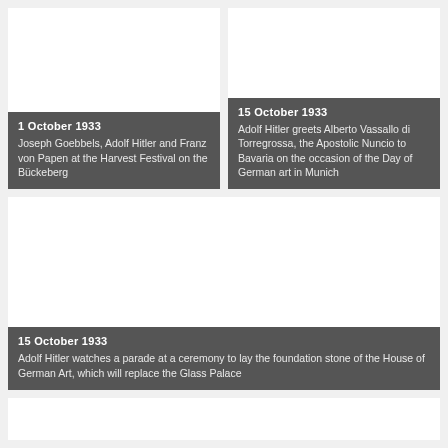[Figure (photo): Photo card: 1 October 1933 — Joseph Goebbels, Adolf Hitler and Franz von Papen at the Harvest Festival on the Bückeberg]
[Figure (photo): Photo card: 15 October 1933 — Adolf Hitler greets Alberto Vassallo di Torregrossa, the Apostolic Nuncio to Bavaria on the occasion of the Day of German art in Munich]
[Figure (photo): Photo card: 15 October 1933 — Adolf Hitler watches a parade at a ceremony to lay the foundation stone of the House of German Art, which will replace the Glass Palace]
[Figure (photo): Photo card: partial view at bottom of page]